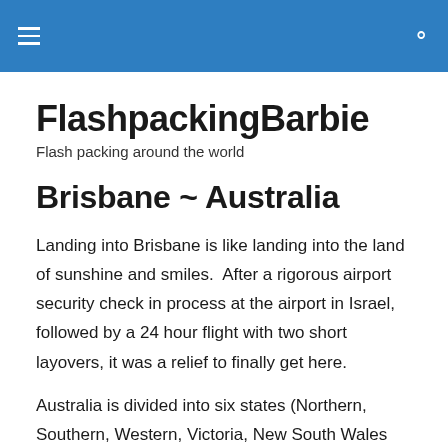FlashpackingBarbie
FlashpackingBarbie
Flash packing around the world
Brisbane ~ Australia
Landing into Brisbane is like landing into the land of sunshine and smiles.  After a rigorous airport security check in process at the airport in Israel,  followed by a 24 hour flight with two short layovers, it was a relief to finally get here.
Australia is divided into six states (Northern, Southern, Western, Victoria, New South Wales and Queensland) and